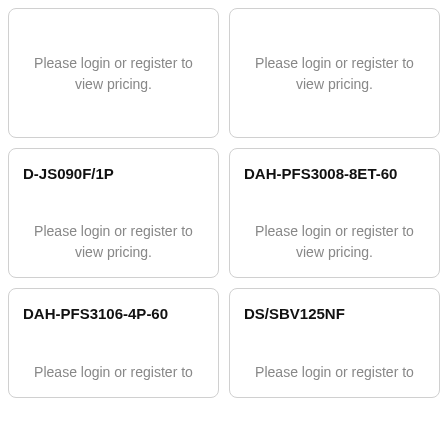Please login or register to view pricing.
Please login or register to view pricing.
D-JS090F/1P
Please login or register to view pricing.
DAH-PFS3008-8ET-60
Please login or register to view pricing.
DAH-PFS3106-4P-60
Please login or register to view pricing.
DS/SBV125NF
Please login or register to view pricing.